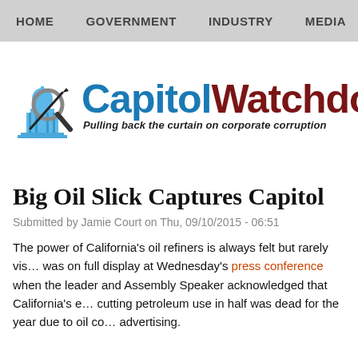HOME   GOVERNMENT   INDUSTRY   MEDIA
[Figure (logo): Capitol Watchdog logo with capitol building illustration and text 'CapitolWatchdog – Pulling back the curtain on corporate corruption']
Big Oil Slick Captures Capitol
Submitted by Jamie Court on Thu, 09/10/2015 - 06:51
The power of California's oil refiners is always felt but rarely vis… was on full display at Wednesday's press conference when the leader and Assembly Speaker acknowledged that California's e… cutting petroleum use in half was dead for the year due to oil co… advertising.